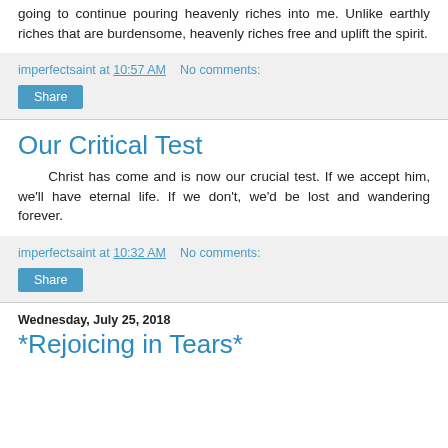going to continue pouring heavenly riches into me. Unlike earthly riches that are burdensome, heavenly riches free and uplift the spirit.
imperfectsaint at 10:57 AM   No comments:
Share
Our Critical Test
Christ has come and is now our crucial test. If we accept him, we'll have eternal life. If we don't, we'd be lost and wandering forever.
imperfectsaint at 10:32 AM   No comments:
Share
Wednesday, July 25, 2018
*Rejoicing in Tears*